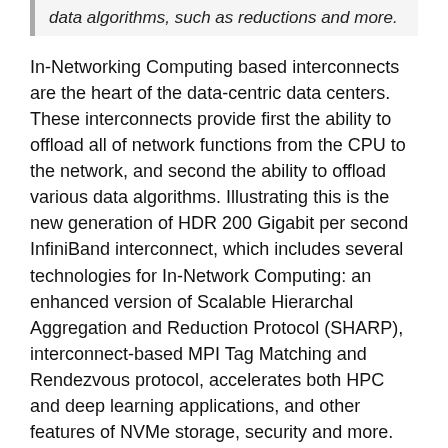data algorithms, such as reductions and more.
In-Networking Computing based interconnects are the heart of the data-centric data centers. These interconnects provide first the ability to offload all of network functions from the CPU to the network, and second the ability to offload various data algorithms. Illustrating this is the new generation of HDR 200 Gigabit per second InfiniBand interconnect, which includes several technologies for In-Network Computing: an enhanced version of Scalable Hierarchal Aggregation and Reduction Protocol (SHARP), interconnect-based MPI Tag Matching and Rendezvous protocol, accelerates both HPC and deep learning applications, and other features of NVMe storage, security and more.
Figure 1 and Figure 2 below demonstrate the performance advantages of SHARP, using the MPI AllReduce collective operation. Testing was conducted on the InfiniBand accelerated Dragonfly+ Niagara supercomputer, the fastest supercomputer in Canada that is owned by the University of Toronto and operated by SciNet. Niagara is intended to enable large parallel jobs, and was designed to optimize the throughput of a wide range of scientific code running